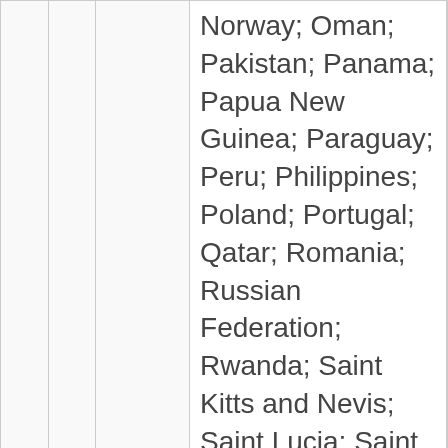|  |  |  | Norway; Oman; Pakistan; Panama; Papua New Guinea; Paraguay; Peru; Philippines; Poland; Portugal; Qatar; Romania; Russian Federation; Rwanda; Saint Kitts and Nevis; Saint Lucia; Saint Vincent and the Grenadines; Samoa; Saudi Arabia, Kingdom of; Senegal; Seychelles; Sierra Leone; |